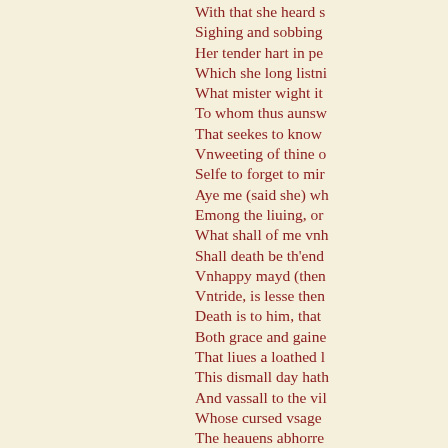With that she heard s
Sighing and sobbing
Her tender hart in pe
Which she long listni
What mister wight it
To whom thus aunsw
That seekes to know
Vnweeting of thine o
Selfe to forget to mir
Aye me (said she) wh
Emong the liuing, or
What shall of me vnh
Shall death be th'end
Vnhappy mayd (then
Vntride, is lesse then
Death is to him, that
Both grace and gaine
That liues a loathed l
This dismall day hath
And vassall to the vil
Whose cursed vsage
The heauens abhorre
For on the spoile of v